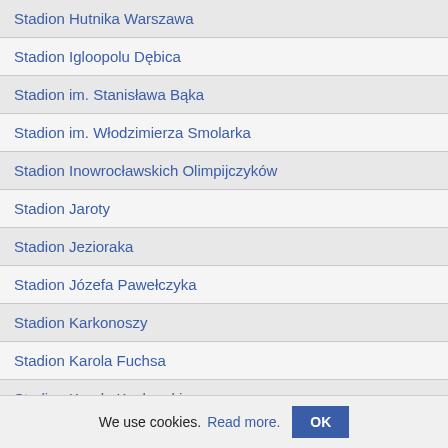Stadion Hutnika Warszawa
Stadion Igloopolu Dębica
Stadion im. Stanisława Bąka
Stadion im. Włodzimierza Smolarka
Stadion Inowrocławskich Olimpijczyków
Stadion Jaroty
Stadion Jezioraka
Stadion Józefa Pawełczyka
Stadion Karkonoszy
Stadion Karola Fuchsa
Stadion Karola Kucharskiego
Stadion Karpat
Stadion Kazimierza Deyny
Stadion Konfeksu
Stadion Korony Góra Kalwaria
Stadion Korony Kielce
We use cookies. Read more. OK